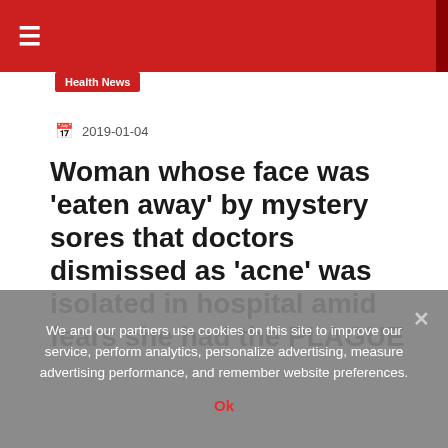≡
Health News
2019-01-04
Woman whose face was 'eaten away' by mystery sores that doctors dismissed as 'acne' was isolated in hospital amid fears she had the PLAGUE
Rachel Star Withers suffered reactions all over her body that left her in agony
We and our partners use cookies on this site to improve our service, perform analytics, personalize advertising, measure advertising performance, and remember website preferences.
Ok